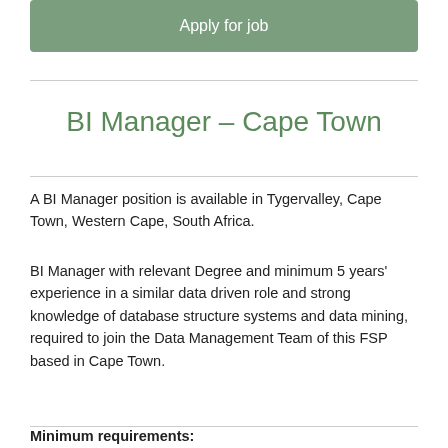Apply for job
BI Manager – Cape Town
A BI Manager position is available in Tygervalley, Cape Town, Western Cape, South Africa.
BI Manager with relevant Degree and minimum 5 years' experience in a similar data driven role and strong knowledge of database structure systems and data mining, required to join the Data Management Team of this FSP based in Cape Town.
Minimum requirements: